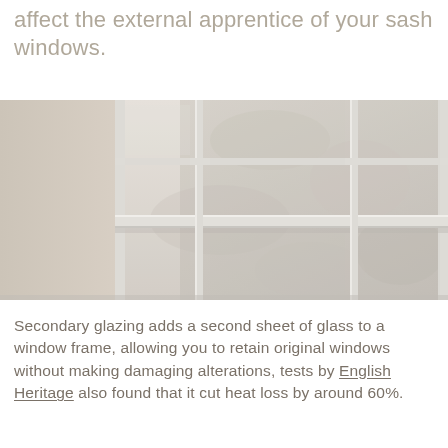affect the external apprentice of your sash windows.
[Figure (photo): Close-up photograph of a white-painted sash window frame with glazing bars, interior wall visible on the left with a decorative wall mount, exterior stone/brick visible through the glass panes.]
Secondary glazing adds a second sheet of glass to a window frame, allowing you to retain original windows without making damaging alterations, tests by English Heritage also found that it cut heat loss by around 60%.